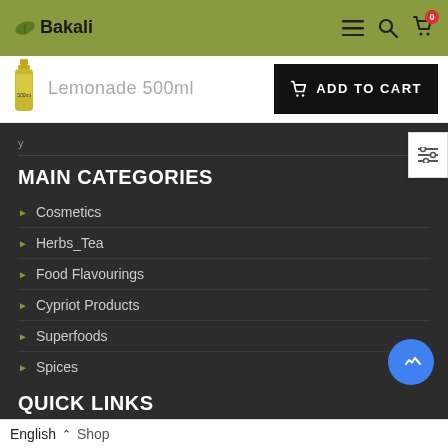Bakali
[Figure (screenshot): Product bar showing Lemonade 500ml with ADD TO CART button]
MAIN CATEGORIES
Cosmetics
Herbs_Tea
Food Flavourings
Cypriot Products
Superfoods
Spices
QUICK LINKS
English  Shop